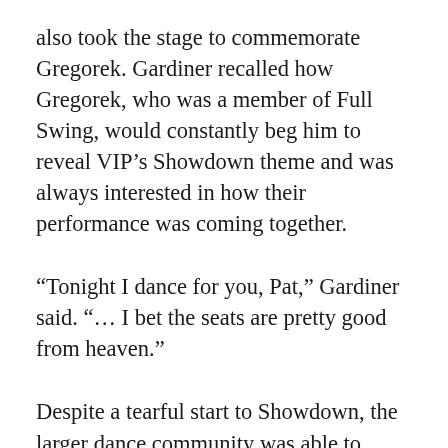also took the stage to commemorate Gregorek. Gardiner recalled how Gregorek, who was a member of Full Swing, would constantly beg him to reveal VIP's Showdown theme and was always interested in how their performance was coming together.
“Tonight I dance for you, Pat,” Gardiner said. “… I bet the seats are pretty good from heaven.”
Despite a tearful start to Showdown, the larger dance community was able to come together around a shared love of the artform to provide dazzling entertainment for the